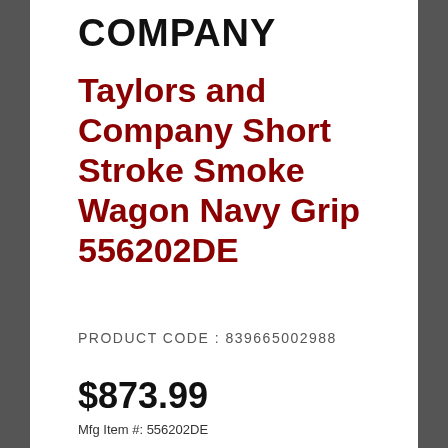COMPANY
Taylors and Company Short Stroke Smoke Wagon Navy Grip 556202DE
PRODUCT CODE : 839665002988
$873.99
Mfg Item #: 556202DE
OUT OF STOCK
Sign our waiver +